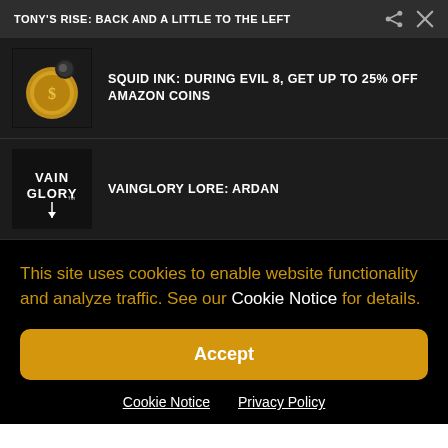TONY'S RISE: BACK AND A LITTLE TO THE LEFT
SQUID INK: DURING EVIL 8, GET UP TO 25% OFF AMAZON COINS
VAINGLORY LORE: ARDAN
This site uses cookies to enable website functionality and analyze traffic. See our Cookie Notice for details.
Accept
Cookie Notice  Privacy Policy